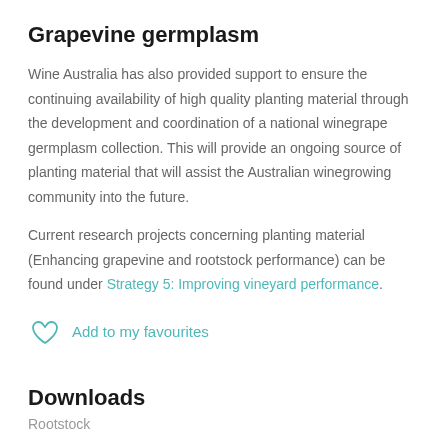Grapevine germplasm
Wine Australia has also provided support to ensure the continuing availability of high quality planting material through the development and coordination of a national winegrape germplasm collection. This will provide an ongoing source of planting material that will assist the Australian winegrowing community into the future.
Current research projects concerning planting material (Enhancing grapevine and rootstock performance) can be found under Strategy 5: Improving vineyard performance.
Add to my favourites
Downloads
Rootstock